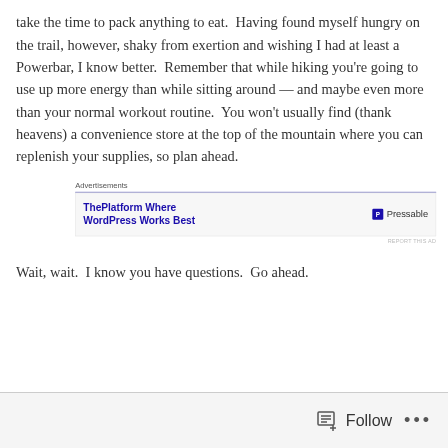take the time to pack anything to eat.  Having found myself hungry on the trail, however, shaky from exertion and wishing I had at least a Powerbar, I know better.  Remember that while hiking you're going to use up more energy than while sitting around — and maybe even more than your normal workout routine.  You won't usually find (thank heavens) a convenience store at the top of the mountain where you can replenish your supplies, so plan ahead.
[Figure (other): Advertisement banner: 'ThePlatform Where WordPress Works Best' with Pressable logo on the right]
Wait, wait.  I know you have questions.  Go ahead.
Follow ···